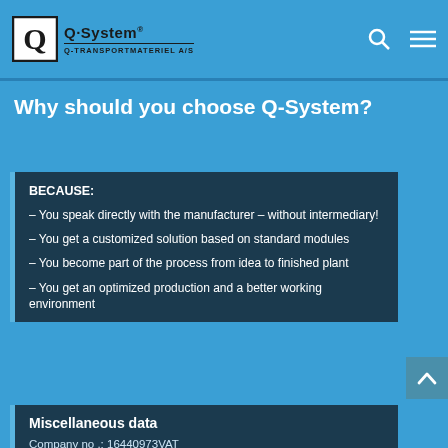Q-System Q-TRANSPORTMATERIEL A/S
Why should you choose Q-System?
BECAUSE:
– You speak directly with the manufacturer – without intermediary!
– You get a customized solution based on standard modules
– You become part of the process from idea to finished plant
– You get an optimized production and a better working environment
Miscellaneous data
Company no .: 16440973VAT